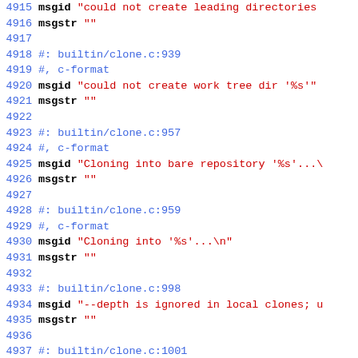Source code / PO file excerpt, lines 4915-4944